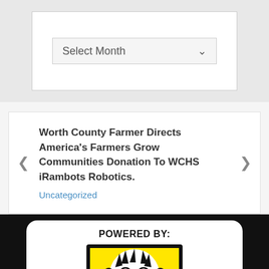[Figure (screenshot): Select Month dropdown UI element inside a white box on grey background]
Worth County Farmer Directs America's Farmers Grow Communities Donation To WCHS iRambots Robotics.
Uncategorized
[Figure (logo): Sylvester Computer Guy logo: cartoon monkey face on laptop screen with yellow background, bold text below reading Sylvester Computer Guy, with POWERED BY: label above]